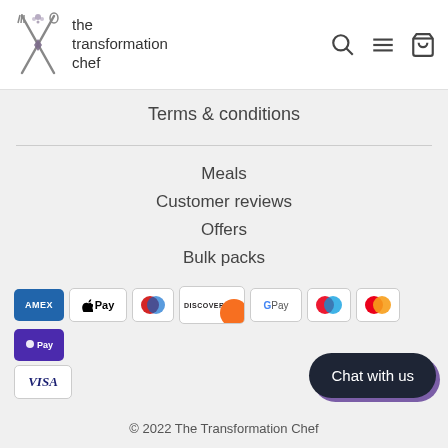[Figure (logo): The Transformation Chef logo with crossed utensils and brand name]
Terms & conditions
Meals
Customer reviews
Offers
Bulk packs
[Figure (other): Payment method icons: AMEX, Apple Pay, Diners, Discover, Google Pay, Maestro, Mastercard, OPay, VISA]
© 2022 The Transformation Chef